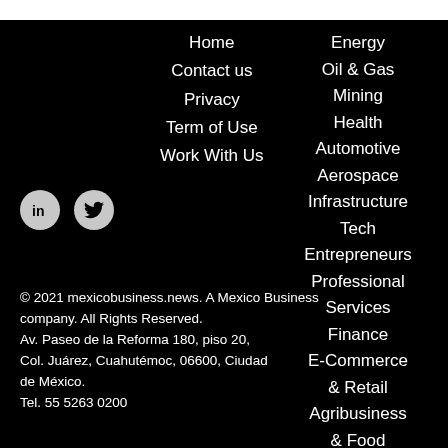Home
Contact us
Privacy
Term of Use
Work With Us
Energy
Oil & Gas
Mining
Health
Automotive
Aerospace
Infrastructure
Tech
Entrepreneurs
Professional Services
Finance
E-Commerce & Retail
Agribusiness & Food
Talent
[Figure (logo): LinkedIn icon circle]
[Figure (logo): Twitter icon circle]
© 2021 mexicobusiness.news. A Mexico Business company. All Rights Reserved. Av. Paseo de la Reforma 180, piso 20, Col. Juárez, Cuahutémoc, 06600, Ciudad de México. Tel. 55 5263 0200